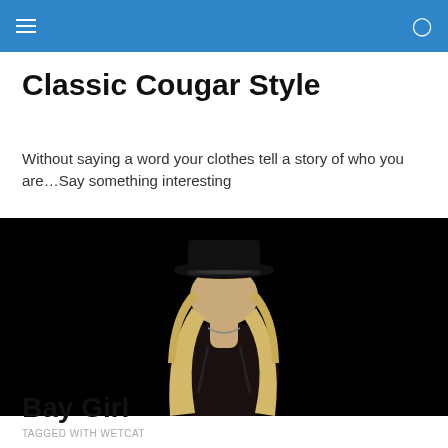Classic Cougar Style — navigation bar
Classic Cougar Style
Without saying a word your clothes tell a story of who you are…Say something interesting
[Figure (photo): Woman with long blonde hair wearing a black hat and black outfit against a dark background]
TAGGED WITH WETCAT
Bay Girl